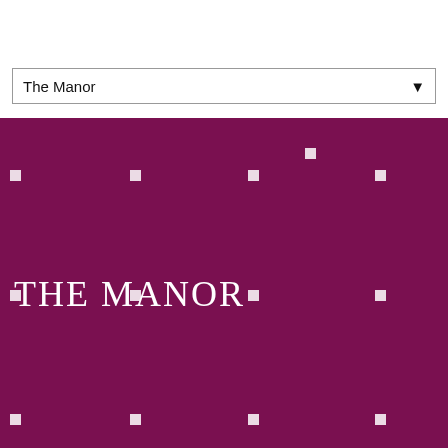The Manor
[Figure (illustration): Dark maroon/wine colored background with white square dot pattern and large serif text 'THE MANOR' in white]
THE MANOR